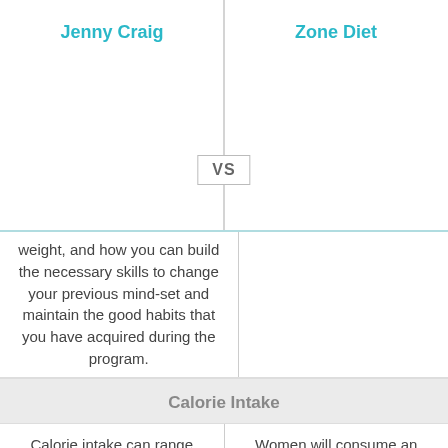Jenny Craig
Zone Diet
VS
weight, and how you can build the necessary skills to change your previous mind-set and maintain the good habits that you have acquired during the program.
Calorie Intake
Calorie intake can range from 1,200 - 2,300 calories per day depending on the plan you come up with your Jenny consultant, which will be based on your age, height, current weight,
Women will consume an average of 1100 calories a day, and men will consume an average of 1400 calories a day.